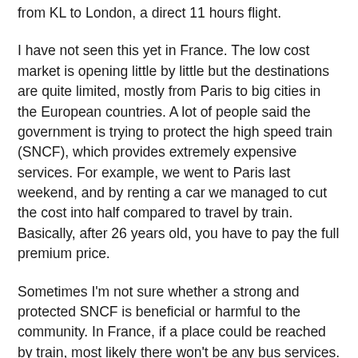from KL to London, a direct 11 hours flight.
I have not seen this yet in France. The low cost market is opening little by little but the destinations are quite limited, mostly from Paris to big cities in the European countries. A lot of people said the government is trying to protect the high speed train (SNCF), which provides extremely expensive services. For example, we went to Paris last weekend, and by renting a car we managed to cut the cost into half compared to travel by train. Basically, after 26 years old, you have to pay the full premium price.
Sometimes I'm not sure whether a strong and protected SNCF is beneficial or harmful to the community. In France, if a place could be reached by train, most likely there won't be any bus services. For example there is no bus connecting Nantes (where I live) and Rennes (where I work) even though there are a huge group of people commuting within these two cities in a daily basis. How I miss the Klang - Kuala Lumpur (1h journey) express bus that only cost RM3 per way. If I choose the train option between Nantes - Rennes (around 1h15min journey)it would have cost me